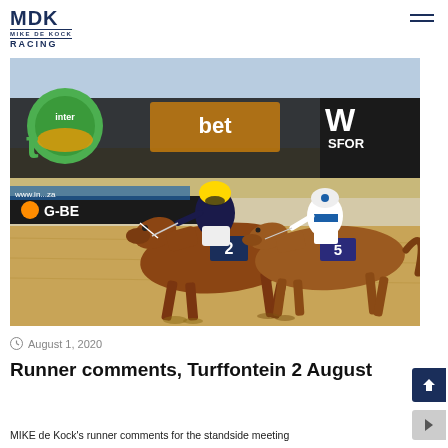MDK MIKE DE KOCK RACING
[Figure (photo): Horse race photo showing jockeys on horses numbered 2 and 5 racing at Turffontein racecourse, with Interbet and W Sport advertising boards in the background.]
August 1, 2020
Runner comments, Turffontein 2 August
MIKE de Kock's runner comments for the standside meeting